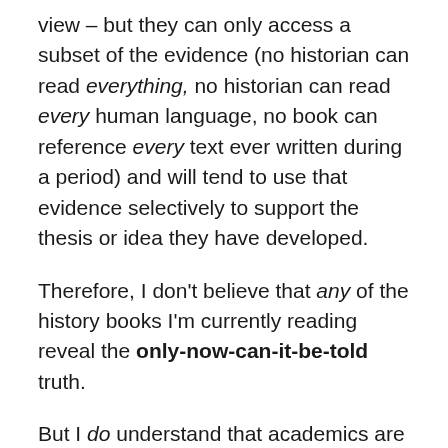view – but they can only access a subset of the evidence (no historian can read everything, no historian can read every human language, no book can reference every text ever written during a period) and will tend to use that evidence selectively to support the thesis or idea they have developed.
Therefore, I don't believe that any of the history books I'm currently reading reveal the only-now-can-it-be-told truth.
But I do understand that academics are under more pressure than ever before to justify their salaries by churning out articles and books. It follows that historians, like literary critics and other humanities scholars, must come up with new interpretations, or apply their interpretations to new subjects, simply in order to keep